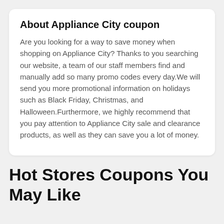About Appliance City coupon
Are you looking for a way to save money when shopping on Appliance City? Thanks to you searching our website, a team of our staff members find and manually add so many promo codes every day.We will send you more promotional information on holidays such as Black Friday, Christmas, and Halloween.Furthermore, we highly recommend that you pay attention to Appliance City sale and clearance products, as well as they can save you a lot of money.
Hot Stores Coupons You May Like